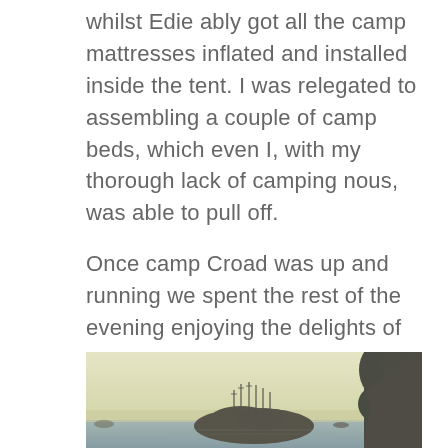whilst Edie ably got all the camp mattresses inflated and installed inside the tent. I was relegated to assembling a couple of camp beds, which even I, with my thorough lack of camping nous, was able to pull off.
Once camp Croad was up and running we spent the rest of the evening enjoying the delights of Sunset Bay.
[Figure (photo): A coastal scene at sunset or dusk showing a dark rocky island/sea stack with what appear to be masts silhouetted against a pale yellow-green sky, with dark tree-covered cliffs on the right, and calm water in the foreground. The image has a vintage, faded look.]